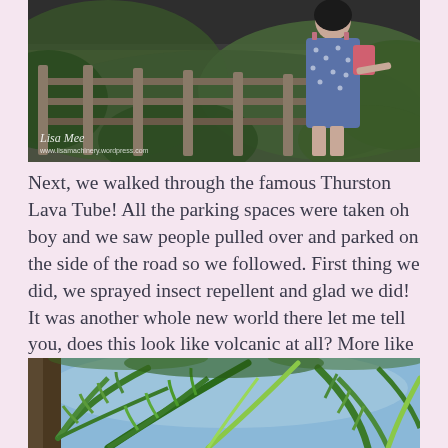[Figure (photo): Woman in blue polka-dot dress standing at a railing overlook, with dark volcanic road and green foliage in background. Watermark reads 'Lisa Mee' and website URL.]
Next, we walked through the famous Thurston Lava Tube! All the parking spaces were taken oh boy and we saw people pulled over and parked on the side of the road so we followed. First thing we did, we sprayed insect repellent and glad we did! It was another whole new world there let me tell you, does this look like volcanic at all? More like a rain forest!
[Figure (photo): Photo looking up through lush tropical/rainforest tree canopy with green fronds and leaves against a blue sky.]